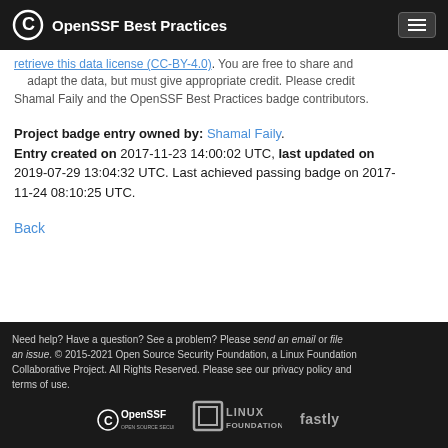OpenSSF Best Practices
...retrieve this data license (CC-BY-4.0). You are free to share and adapt the data, but must give appropriate credit. Please credit Shamal Faily and the OpenSSF Best Practices badge contributors.
Project badge entry owned by: Shamal Faily. Entry created on 2017-11-23 14:00:02 UTC, last updated on 2019-07-29 13:04:32 UTC. Last achieved passing badge on 2017-11-24 08:10:25 UTC.
Back
Need help? Have a question? See a problem? Please send an email or file an issue. © 2015-2021 Open Source Security Foundation, a Linux Foundation Collaborative Project. All Rights Reserved. Please see our privacy policy and terms of use.